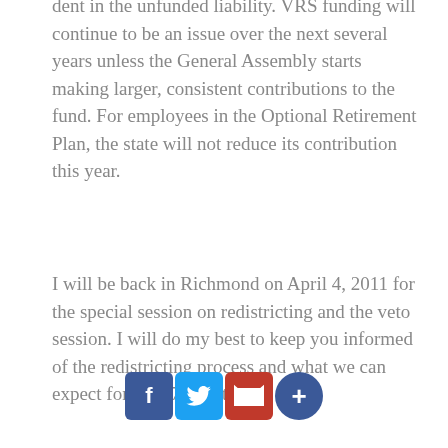dent in the unfunded liability. VRS funding will continue to be an issue over the next several years unless the General Assembly starts making larger, consistent contributions to the fund. For employees in the Optional Retirement Plan, the state will not reduce its contribution this year.
I will be back in Richmond on April 4, 2011 for the special session on redistricting and the veto session. I will do my best to keep you informed of the redistricting process and what we can expect for the 57th district.
I appreciate the input you have given me over the last 47 days of session and hope you will continue to be a part of pressing issues facing our Commonwealth. Please feel free to